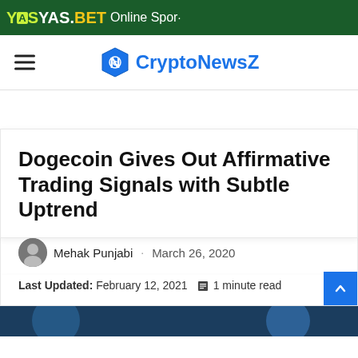[Figure (logo): YAS.BET Online Sports advertisement banner with green background]
[Figure (logo): CryptoNewsZ website logo with blue hexagon icon and blue text]
Dogecoin Gives Out Affirmative Trading Signals with Subtle Uptrend
Mehak Punjabi · March 26, 2020
Last Updated: February 12, 2021  1 minute read